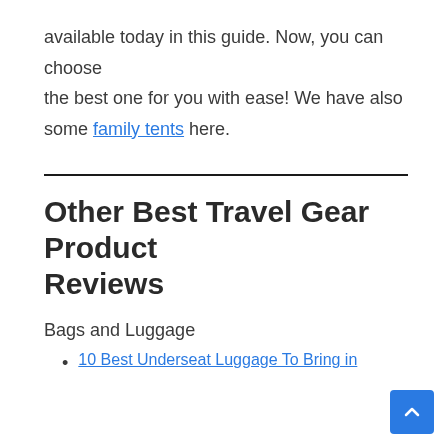available today in this guide. Now, you can choose the best one for you with ease! We have also some family tents here.
Other Best Travel Gear Product Reviews
Bags and Luggage
10 Best Underseat Luggage To Bring in